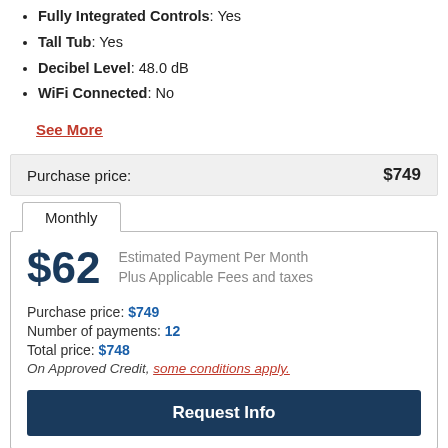Fully Integrated Controls: Yes
Tall Tub: Yes
Decibel Level: 48.0 dB
WiFi Connected: No
See More
| Purchase price: | $749 |
| --- | --- |
Monthly
$62 Estimated Payment Per Month Plus Applicable Fees and taxes
Purchase price: $749
Number of payments: 12
Total price: $748
On Approved Credit, some conditions apply.
Request Info
Extended Warranty
5 Year(s) of Protection: +$169.95